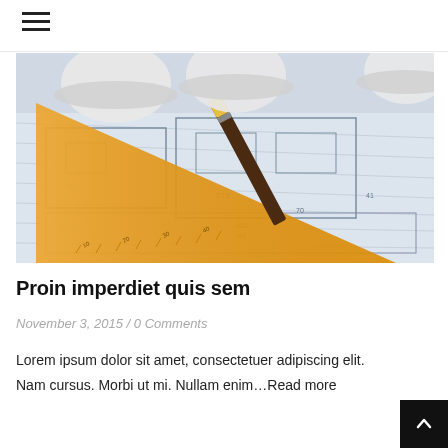[Figure (photo): Engineering blueprints/floor plans laid flat on a table with an orange ruler/set square and a dark pencil on top, and several white hard hats/helmets in the background.]
Proin imperdiet quis sem
November 3, 2015 / 0 Comments
Lorem ipsum dolor sit amet, consectetuer adipiscing elit. Nam cursus. Morbi ut mi. Nullam enim…Read more